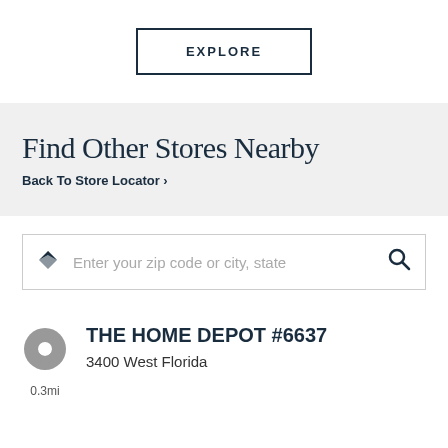EXPLORE
Find Other Stores Nearby
Back To Store Locator >
Enter your zip code or city, state
THE HOME DEPOT #6637
3400 West Florida